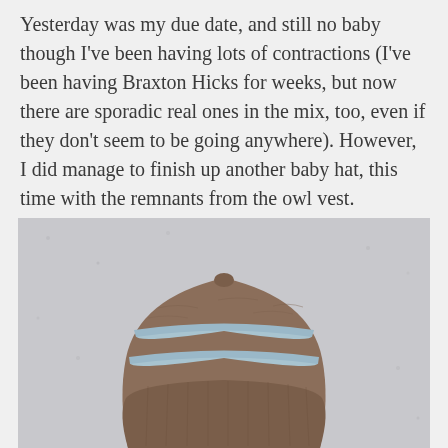Yesterday was my due date, and still no baby though I've been having lots of contractions (I've been having Braxton Hicks for weeks, but now there are sporadic real ones in the mix, too, even if they don't seem to be going anywhere). However, I did manage to finish up another baby hat, this time with the remnants from the owl vest.
[Figure (photo): A knitted baby hat in brown yarn with two horizontal light blue stripes, displayed on a small white mannequin head against a grey speckled background.]